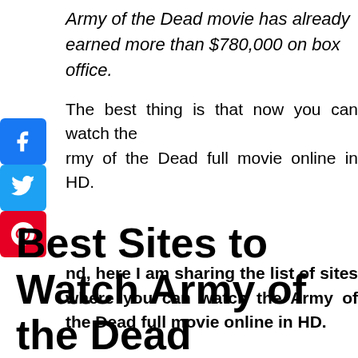Army of the Dead movie has already earned more than $780,000 on box office.
The best thing is that now you can watch the Army of the Dead full movie online in HD.
[Figure (illustration): Facebook, Twitter, and Pinterest social share icon buttons stacked vertically on the left side]
nd, here I am sharing the list of sites where you can watch the Army of the Dead full movie online in HD.
Best Sites to Watch Army of the Dead